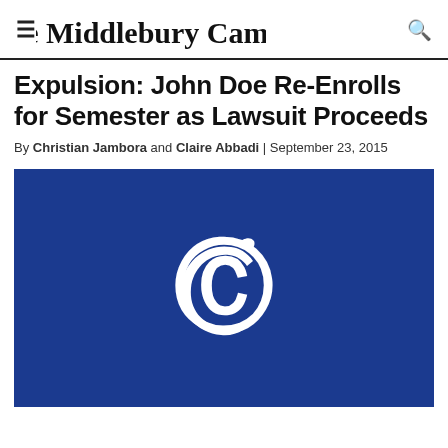The Middlebury Campus
Expulsion: John Doe Re-Enrolls for Semester as Lawsuit Proceeds
By Christian Jambora and Claire Abbadi | September 23, 2015
[Figure (logo): Dark blue rectangle with white decorative blackletter 'C' logo in the center — The Middlebury Campus logo placeholder image]